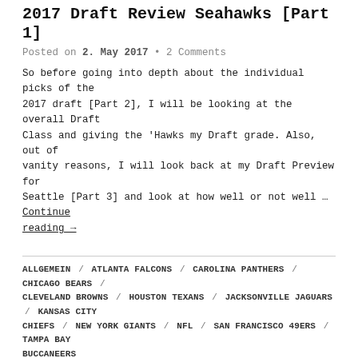2017 Draft Review Seahawks [Part 1]
Posted on 2. May 2017 • 2 Comments
So before going into depth about the individual picks of the 2017 draft [Part 2], I will be looking at the overall Draft Class and giving the 'Hawks my Draft grade. Also, out of vanity reasons, I will look back at my Draft Preview for Seattle [Part 3] and look at how well or not well … Continue reading →
ALLGEMEIN / ATLANTA FALCONS / CAROLINA PANTHERS / CHICAGO BEARS / CLEVELAND BROWNS / HOUSTON TEXANS / JACKSONVILLE JAGUARS / KANSAS CITY CHIEFS / NEW YORK GIANTS / NFL / SAN FRANCISCO 49ERS / TAMPA BAY BUCCANEERS
2017 Draft: Round 1
Posted on 29. April 2017 • 1 Comment
So I want to have a quick look at the first round. The main thing for me is looking at how much teams have improved to be competitive for next season. For me there are two absolute standouts: Browns Garett, Peppers and Njoku. Not only did they pick up two great guys on Defence but then